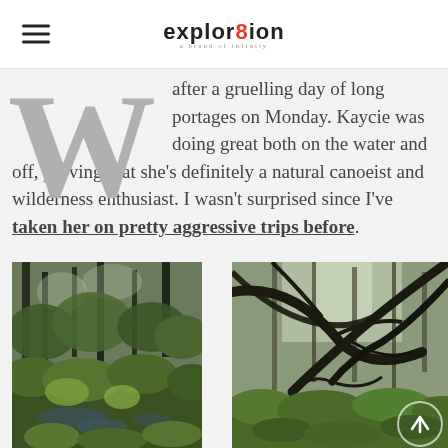explor8ion
after a gruelling day of long portages on Monday. Kaycie was doing great both on the water and off, proving that she's definitely a natural canoeist and wilderness enthusiast. I wasn't surprised since I've taken her on pretty aggressive trips before.
[Figure (photo): Dense green forest undergrowth with standing water visible, lush vegetation and moss]
[Figure (photo): Forest scene with fallen or bent dark tree branches arching dramatically, green undergrowth below]